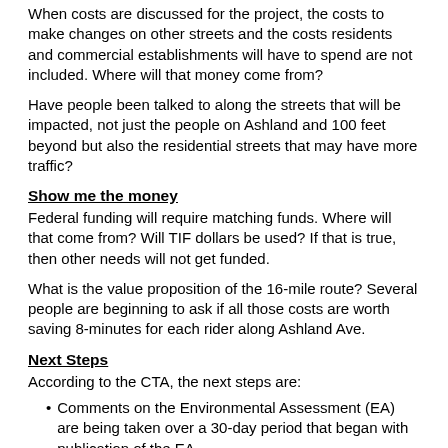When costs are discussed for the project, the costs to make changes on other streets and the costs residents and commercial establishments will have to spend are not included. Where will that money come from?
Have people been talked to along the streets that will be impacted, not just the people on Ashland and 100 feet beyond but also the residential streets that may have more traffic?
Show me the money
Federal funding will require matching funds. Where will that come from? Will TIF dollars be used? If that is true, then other needs will not get funded.
What is the value proposition of the 16-mile route? Several people are beginning to ask if all those costs are worth saving 8-minutes for each rider along Ashland Ave.
Next Steps
According to the CTA, the next steps are:
Comments on the Environmental Assessment (EA) are being taken over a 30-day period that began with publication of the EA.